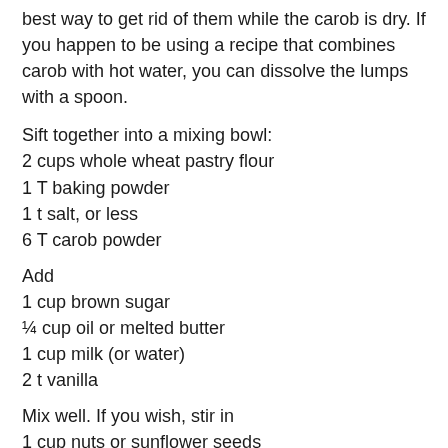best way to get rid of them while the carob is dry. If you happen to be using a recipe that combines carob with hot water, you can dissolve the lumps with a spoon.
Sift together into a mixing bowl:
2 cups whole wheat pastry flour
1 T baking powder
1 t salt, or less
6 T carob powder
Add
1 cup brown sugar
¼ cup oil or melted butter
1 cup milk (or water)
2 t vanilla
Mix well. If you wish, stir in
1 cup nuts or sunflower seeds
Spread the batter evenly in a large baking pan.